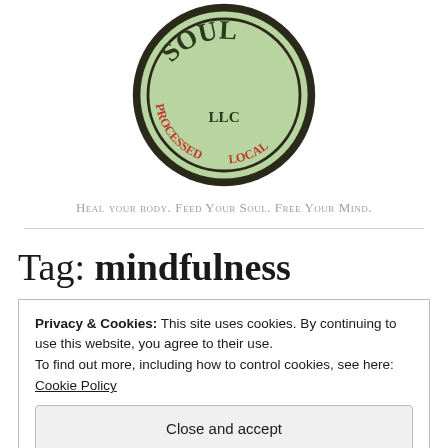[Figure (logo): Circular green logo with text 'LLC', 'PROCESSED', 'LOCAL' in red and dark lettering on a green background with dark border]
Heal your body. Feed Your Soul. Free Your Mind.
Tag: mindfulness
Privacy & Cookies: This site uses cookies. By continuing to use this website, you agree to their use.
To find out more, including how to control cookies, see here: Cookie Policy
Close and accept
THINKING